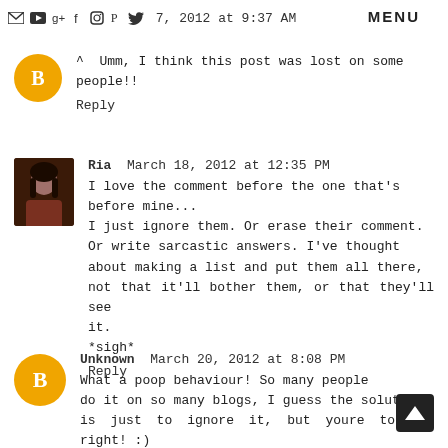[navigation icons] [date] March 7, 2012 at 9:37 AM   MENU
^ Umm, I think this post was lost on some people!!
Reply
Ria  March 18, 2012 at 12:35 PM
I love the comment before the one that's before mine...
I just ignore them. Or erase their comment. Or write sarcastic answers. I've thought about making a list and put them all there, not that it'll bother them, or that they'll see it.
*sigh*
Reply
Unknown  March 20, 2012 at 8:08 PM
What a poop behaviour! So many people do it on so many blogs, I guess the solution is just to ignore it, but youre totally right! :)
xx